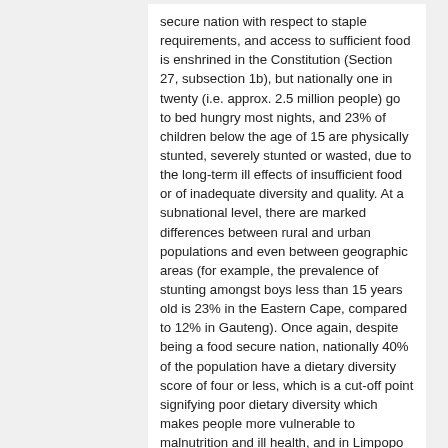secure nation with respect to staple requirements, and access to sufficient food is enshrined in the Constitution (Section 27, subsection 1b), but nationally one in twenty (i.e. approx. 2.5 million people) go to bed hungry most nights, and 23% of children below the age of 15 are physically stunted, severely stunted or wasted, due to the long-term ill effects of insufficient food or of inadequate diversity and quality. At a subnational level, there are marked differences between rural and urban populations and even between geographic areas (for example, the prevalence of stunting amongst boys less than 15 years old is 23% in the Eastern Cape, compared to 12% in Gauteng). Once again, despite being a food secure nation, nationally 40% of the population have a dietary diversity score of four or less, which is a cut-off point signifying poor dietary diversity which makes people more vulnerable to malnutrition and ill health, and in Limpopo and Northwest provinces it is as high as 66% and 61%, respectively.